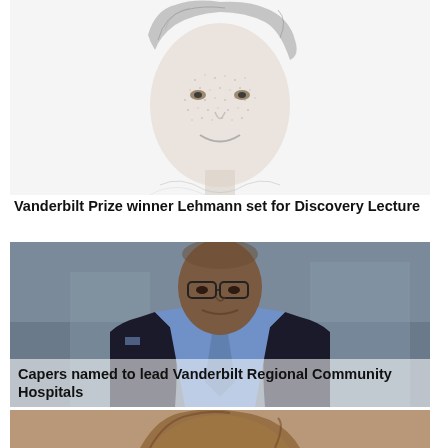[Figure (photo): Stipple/sketch portrait of a smiling woman with short hair]
Vanderbilt Prize winner Lehmann set for Discovery Lecture
[Figure (photo): Photograph of a man in a dark suit with blue tie and glasses, smiling]
Capers named to lead Vanderbilt Regional Community Hospitals
[Figure (photo): Partial photograph of a person (top of head/hair visible)]